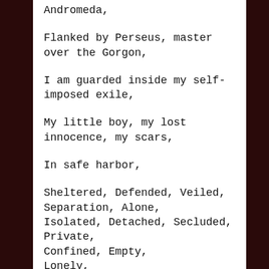Andromeda,
Flanked by Perseus, master over the Gorgon,
I am guarded inside my self-imposed exile,
My little boy, my lost innocence, my scars,
In safe harbor,
Sheltered, Defended, Veiled, Separation, Alone,
Isolated, Detached, Secluded, Private,
Confined, Empty,
Lonely,
Someday I must emerge from my island